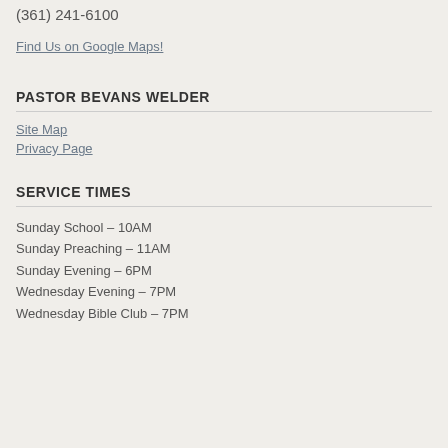(361) 241-6100
Find Us on Google Maps!
PASTOR BEVANS WELDER
Site Map
Privacy Page
SERVICE TIMES
Sunday School – 10AM
Sunday Preaching – 11AM
Sunday Evening – 6PM
Wednesday Evening – 7PM
Wednesday Bible Club – 7PM